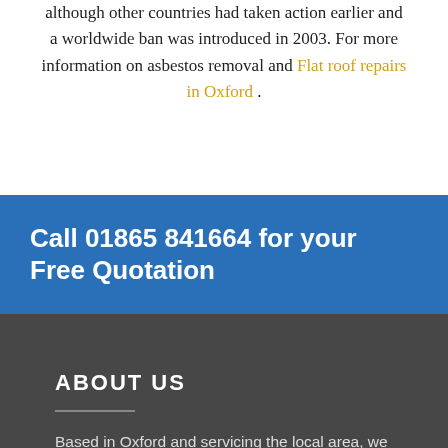although other countries had taken action earlier and a worldwide ban was introduced in 2003. For more information on asbestos removal and Flat roof repairs in Oxford .
Call 01865 841664 for your Free Quotation
ABOUT US
Based in Oxford and servicing the local area, we